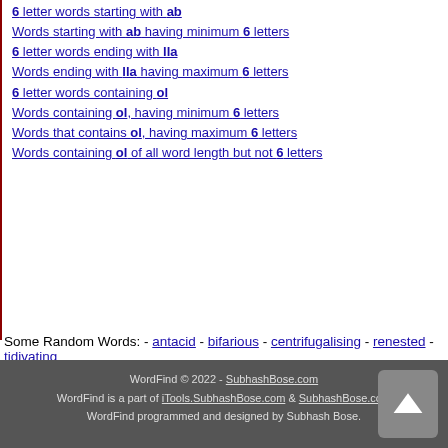6 letter words starting with ab
Words starting with ab having minimum 6 letters
6 letter words ending with lla
Words ending with lla having maximum 6 letters
6 letter words containing ol
Words containing ol, having minimum 6 letters
Words that contains ol, having maximum 6 letters
Words containing ol of all word length but not 6 letters
Some Random Words: - antacid - bifarious - centrifugalising - renested - tidivating
WordFind © 2022 - SubhashBose.com
WordFind is a part of iTools.SubhashBose.com & SubhashBose.com
WordFind programmed and designed by Subhash Bose.